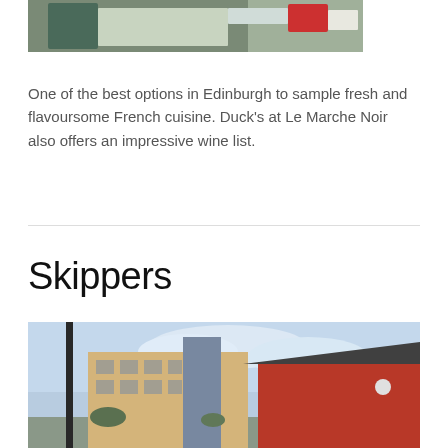[Figure (photo): Partial view of a kitchen or food preparation area with a person visible, white cabinetry in background, red tray or mat on the right side]
One of the best options in Edinburgh to sample fresh and flavoursome French cuisine. Duck's at Le Marche Noir also offers an impressive wine list.
Skippers
[Figure (photo): Exterior view of Skippers restaurant area with a red building on the right, multi-storey residential buildings in the background with glass facade, a tall dark pole or chimney on the left, and a cloudy sky]